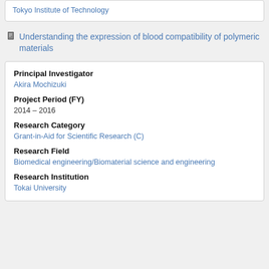Tokyo Institute of Technology
Understanding the expression of blood compatibility of polymeric materials
Principal Investigator
Akira Mochizuki
Project Period (FY)
2014 – 2016
Research Category
Grant-in-Aid for Scientific Research (C)
Research Field
Biomedical engineering/Biomaterial science and engineering
Research Institution
Tokai University